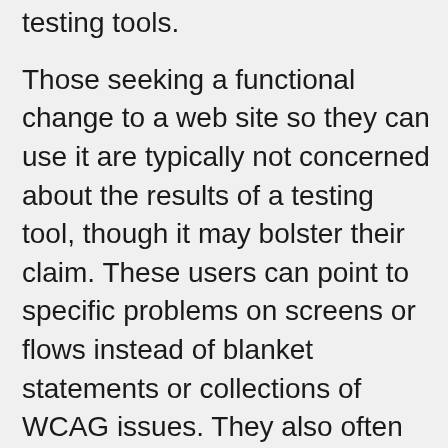testing tools.
Those seeking a functional change to a web site so they can use it are typically not concerned about the results of a testing tool, though it may bolster their claim. These users can point to specific problems on screens or flows instead of blanket statements or collections of WCAG issues. They also often do not demand financial compensation but instead work with the site owners to resolve the issues, such as through structured negotiation or similar processes. Their focus is generally on being involved in and validating the solution.